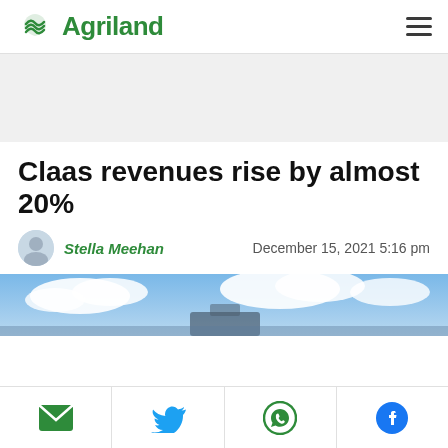Agriland
Claas revenues rise by almost 20%
Stella Meehan   December 15, 2021 5:16 pm
[Figure (photo): Sky and clouds hero image for the article about Claas revenues]
[Figure (infographic): Social share bar with email, Twitter, WhatsApp, and Facebook icons]